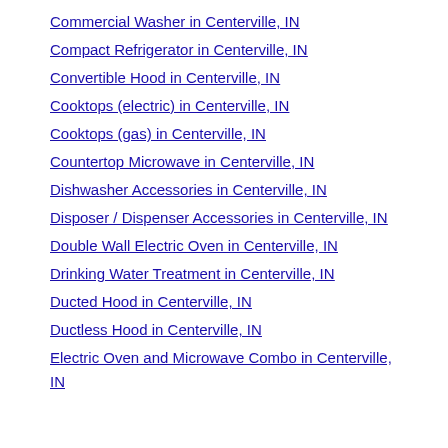Commercial Washer in Centerville, IN
Compact Refrigerator in Centerville, IN
Convertible Hood in Centerville, IN
Cooktops (electric) in Centerville, IN
Cooktops (gas) in Centerville, IN
Countertop Microwave in Centerville, IN
Dishwasher Accessories in Centerville, IN
Disposer / Dispenser Accessories in Centerville, IN
Double Wall Electric Oven in Centerville, IN
Drinking Water Treatment in Centerville, IN
Ducted Hood in Centerville, IN
Ductless Hood in Centerville, IN
Electric Oven and Microwave Combo in Centerville, IN